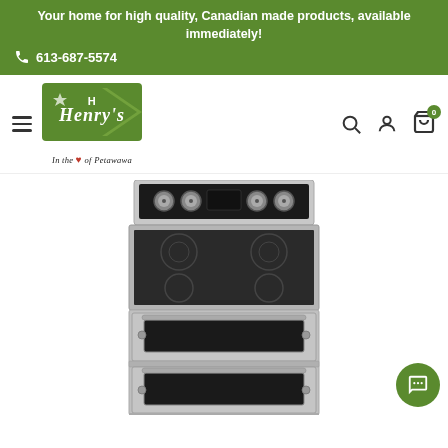Your home for high quality, Canadian made products, available immediately! 613-687-5574
[Figure (logo): Henry's In the Heart of Petawawa logo — green rectangle with stylized script 'Henry's' text and arrow graphic]
[Figure (photo): Stainless steel double oven electric range/stove with smooth glass ceramic cooktop, black control panel with four knobs, two oven compartments with black glass windows]